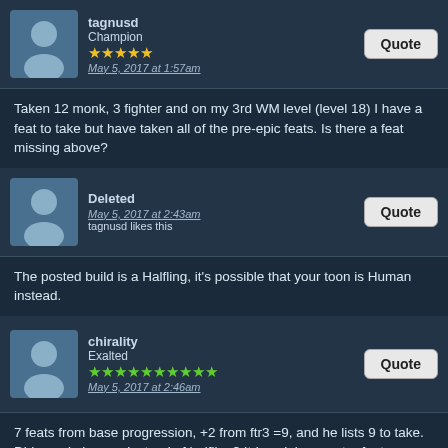tagnusd
Champion
★★★★★
May 5, 2017 at 1:57am
Taken 12 monk, 3 fighter and on my 3rd WM level (level 18) I have a feat to take but have taken all of the pre-epic feats. Is there a feat missing above?
Deleted
May 5, 2017 at 2:43am
tagnusd likes this
The posted build is a Halfling, it's possible that your toon is Human instead.
chirality
Exalted
★★★★★★★★★★
May 5, 2017 at 2:46am
7 feats from base progression, +2 from ftr3 =9, and he lists 9 to take. Did you do human instead of halfling? Itd explain an extra feat
ubernoobgaming